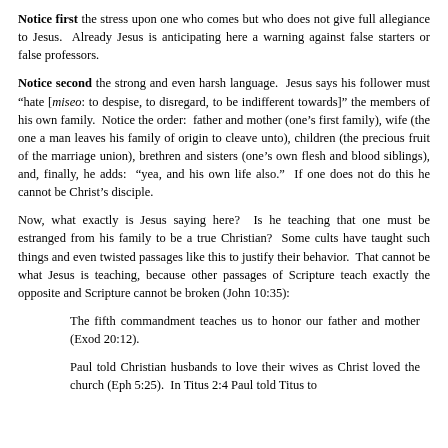Notice first the stress upon one who comes but who does not give full allegiance to Jesus. Already Jesus is anticipating here a warning against false starters or false professors.
Notice second the strong and even harsh language. Jesus says his follower must "hate [miseo: to despise, to disregard, to be indifferent towards]" the members of his own family. Notice the order: father and mother (one's first family), wife (the one a man leaves his family of origin to cleave unto), children (the precious fruit of the marriage union), brethren and sisters (one's own flesh and blood siblings), and, finally, he adds: "yea, and his own life also." If one does not do this he cannot be Christ's disciple.
Now, what exactly is Jesus saying here? Is he teaching that one must be estranged from his family to be a true Christian? Some cults have taught such things and even twisted passages like this to justify their behavior. That cannot be what Jesus is teaching, because other passages of Scripture teach exactly the opposite and Scripture cannot be broken (John 10:35):
The fifth commandment teaches us to honor our father and mother (Exod 20:12).
Paul told Christian husbands to love their wives as Christ loved the church (Eph 5:25). In Titus 2:4 Paul told Titus to